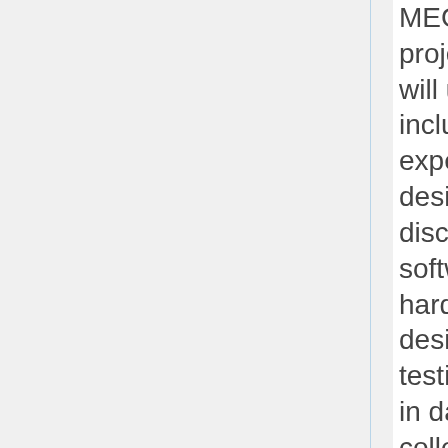MEG based project. This will usually include detailed experimental design discussion, software and hardware design and testing, training in data collection and system instruction, signal processing and data analysis.